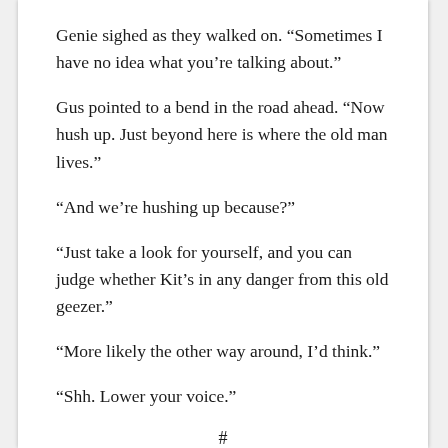Genie sighed as they walked on. “Sometimes I have no idea what you’re talking about.”
Gus pointed to a bend in the road ahead. “Now hush up. Just beyond here is where the old man lives.”
“And we’re hushing up because?”
“Just take a look for yourself, and you can judge whether Kit’s in any danger from this old geezer.”
“More likely the other way around, I’d think.”
“Shh. Lower your voice.”
#
The planes of Otto’s face, caught in a large piece of cherry wood, revealed a smoldering anger. The